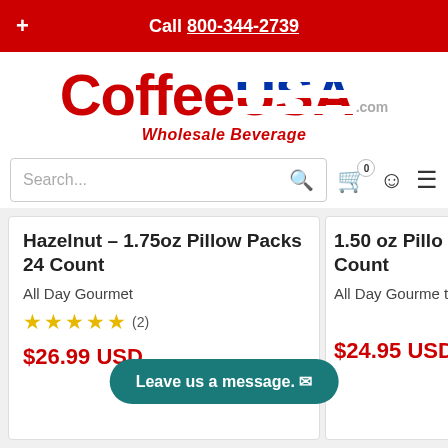Call 800-344-2739
[Figure (logo): Coffee USA .com Wholesale Beverage logo]
Search...
Hazelnut – 1.75oz Pillow Packs 24 Count
All Day Gourmet
★★★★★ (2)
$26.99 USD
1.50 oz Pillow Packs Count
All Day Gourmet
$24.95 USD
Leave us a message.